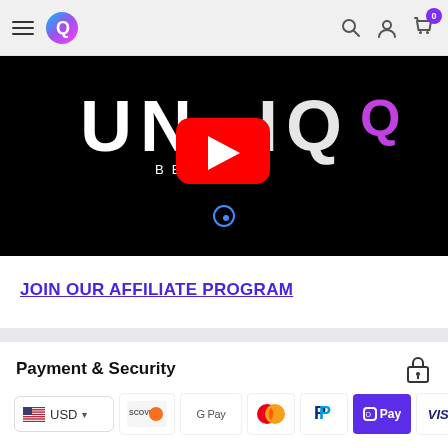Q [logo] — navigation header with hamburger menu, search, account, cart (0)
[Figure (screenshot): Video thumbnail on black background showing 'UNIQ BEAUTE' text logo with a YouTube play button overlay and a small Q logo at the bottom center]
JOIN OUR AFFILIATE PROGRAM
Payment & Security
[Figure (infographic): Payment method icons: USD currency selector with US flag, Discover, Google Pay, Mastercard, PayPal, OPay, Visa]